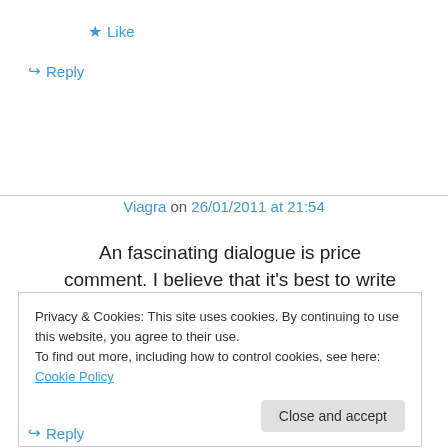★ Like
↪ Reply
Viagra on 26/01/2011 at 21:54
An fascinating dialogue is price comment. I believe that it's best to write extra on this matter,
Privacy & Cookies: This site uses cookies. By continuing to use this website, you agree to their use.
To find out more, including how to control cookies, see here: Cookie Policy
Close and accept
↪ Reply